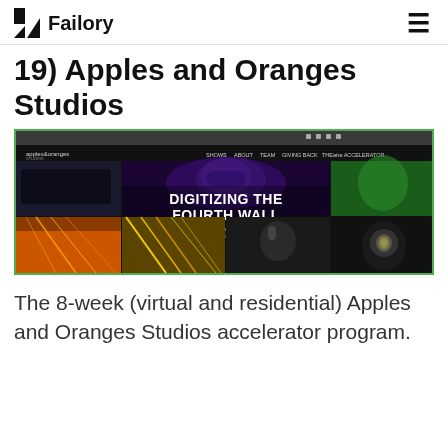Failory
19) Apples and Oranges Studios
[Figure (screenshot): Screenshot of the Apples and Oranges Studios website showing a grid of images with the text 'DIGITIZING THE FOURTH WALL' and tagline 'Unifying live theater and digital distribution to develop and share stories at massive scale']
The 8-week (virtual and residential) Apples and Oranges Studios accelerator program.